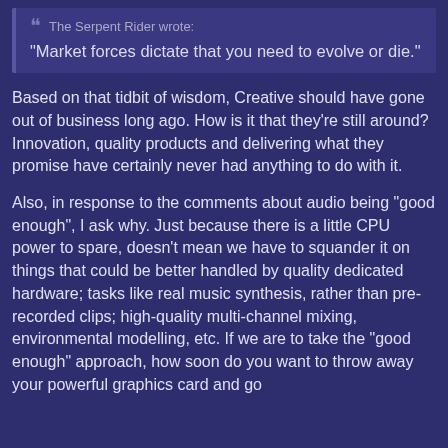The Serpent Rider wrote: "Market forces dictate that you need to evolve or die."
Based on that tidbit of wisdom, Creative should have gone out of business long ago. How is it that they're still around? Innovation, quality products and delivering what they promise have certainly never had anything to do with it.
Also, in response to the comments about audio being "good enough", I ask why. Just because there is a little CPU power to spare, doesn't mean we have to squander it on things that could be better handled by quality dedicated hardware; tasks like real music synthesis, rather than pre-recorded clips; high-quality multi-channel mixing, environmental modelling, etc. If we are to take the "good enough" approach, how soon do you want to throw away your powerful graphics card and go